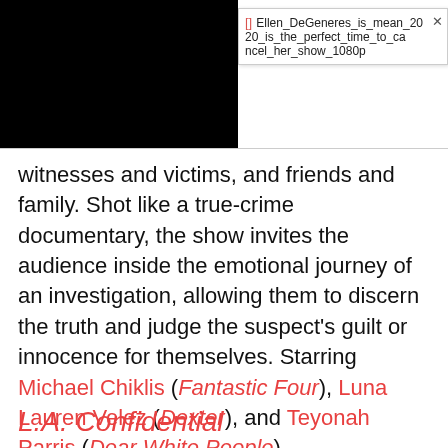[Figure (screenshot): Black rectangle representing a video thumbnail on the left, with a tooltip/overlay box on the right showing a filename: Ellen_DeGeneres_is_mean_2020_is_the_perfect_time_to_cancel_her_show_1080p, with a bracket icon and close button.]
witnesses and victims, and friends and family. Shot like a true-crime documentary, the show invites the audience inside the emotional journey of an investigation, allowing them to discern the truth and judge the suspect's guilt or innocence for themselves. Starring Michael Chiklis (Fantastic Four), Luna Lauren Velez (Dexter), and Teyonah Parris (Dear White People).
L.A. Confidential